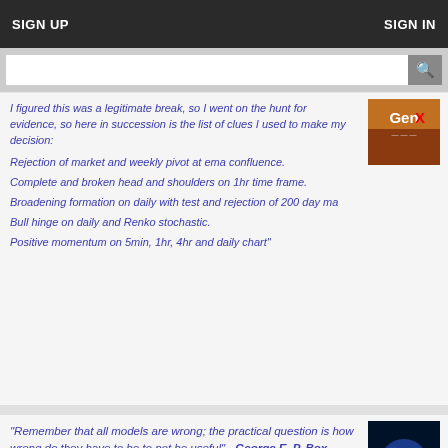SIGN UP    SIGN IN
I figured this was a legitimate break, so I went on the hunt for evidence, so here in succession is the list of clues I used to make my decision:
Rejection of market and weekly pivot at ema confluence.
Complete and broken head and shoulders on 1hr time frame.
Broadening formation on daily with test and rejection of 200 day ma
Bull hinge on daily and Renko stochastic.
Positive momentum on 5min, 1hr, 4hr and daily chart"
"Remember that all models are wrong; the practical question is how wrong do they have to be to not be useful" - George E. P. Box